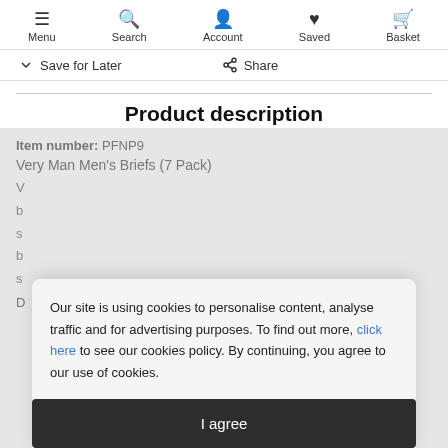Menu  Search  Account  Saved  Basket
Save for Later   Share
Product description
Item number: PFNP9
Very Man Men's Briefs (7 Pack)
Our site is using cookies to personalise content, analyse traffic and for advertising purposes. To find out more, click here to see our cookies policy. By continuing, you agree to our use of cookies.
I agree